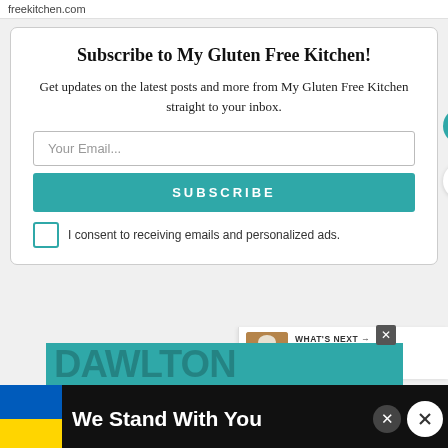freekitchen.com
Subscribe to My Gluten Free Kitchen!
Get updates on the latest posts and more from My Gluten Free Kitchen straight to your inbox.
Your Email...
SUBSCRIBE
I consent to receiving emails and personalized ads.
137K
WHAT'S NEXT → Gluten-free Dutch Apple...
We Stand With You